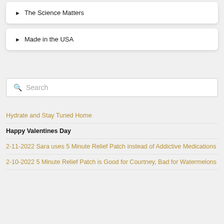► The Science Matters
► Made in the USA
Search
Hydrate and Stay Tuned Home
Happy Valentines Day
2-11-2022 Sara uses 5 Minute Relief Patch instead of Addictive Medications
2-10-2022 5 Minute Relief Patch is Good for Courtney, Bad for Watermelons